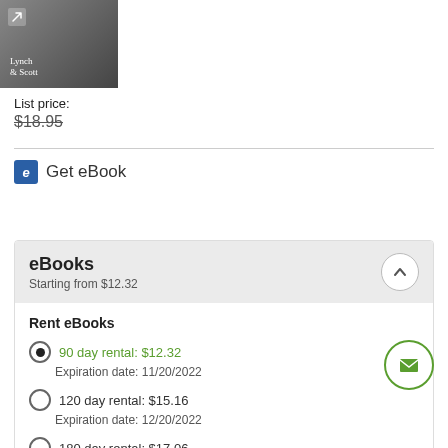[Figure (photo): Book cover thumbnail for Lynch & Scott publication, dark background with arrow icon]
List price:
$18.95
Get eBook
eBooks
Starting from $12.32
Rent eBooks
90 day rental: $12.32
Expiration date: 11/20/2022
120 day rental: $15.16
Expiration date: 12/20/2022
180 day rental: $17.06
Expiration date: 3/18/2023